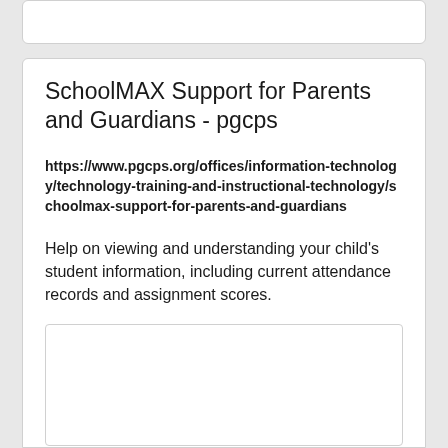SchoolMAX Support for Parents and Guardians - pgcps
https://www.pgcps.org/offices/information-technology/technology-training-and-instructional-technology/schoolmax-support-for-parents-and-guardians
Help on viewing and understanding your child's student information, including current attendance records and assignment scores.
[Figure (other): Empty white card/box placeholder at the bottom of the result card]